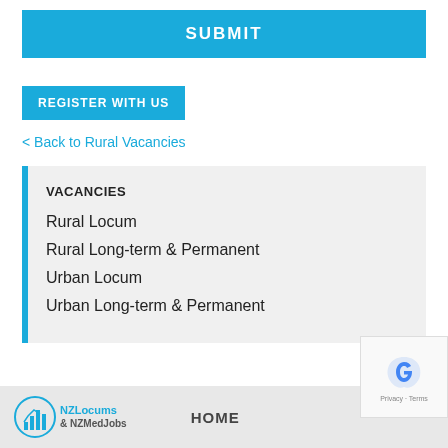SUBMIT
REGISTER WITH US
< Back to Rural Vacancies
VACANCIES
Rural Locum
Rural Long-term & Permanent
Urban Locum
Urban Long-term & Permanent
HOME
[Figure (logo): NZLocums & NZMedJobs logo with circular icon]